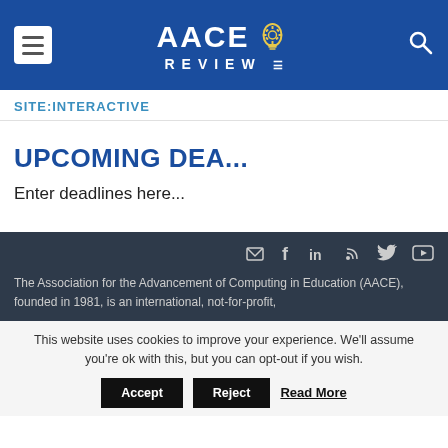AACE REVIEW
SITE:INTERACTIVE
UPCOMING DEA...
Enter deadlines here...
The Association for the Advancement of Computing in Education (AACE), founded in 1981, is an international, not-for-profit,
This website uses cookies to improve your experience. We'll assume you're ok with this, but you can opt-out if you wish. Accept Reject Read More